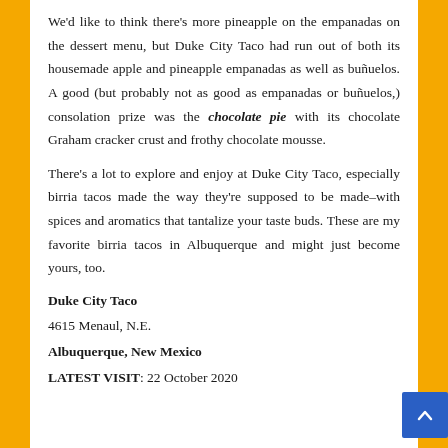We'd like to think there's more pineapple on the empanadas on the dessert menu, but Duke City Taco had run out of both its housemade apple and pineapple empanadas as well as buñuelos. A good (but probably not as good as empanadas or buñuelos,) consolation prize was the chocolate pie with its chocolate Graham cracker crust and frothy chocolate mousse.
There's a lot to explore and enjoy at Duke City Taco, especially birria tacos made the way they're supposed to be made–with spices and aromatics that tantalize your taste buds. These are my favorite birria tacos in Albuquerque and might just become yours, too.
Duke City Taco
4615 Menaul, N.E.
Albuquerque, New Mexico
LATEST VISIT: 22 October 2020